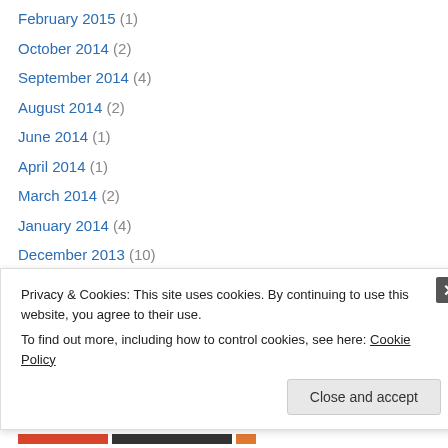February 2015 (1)
October 2014 (2)
September 2014 (4)
August 2014 (2)
June 2014 (1)
April 2014 (1)
March 2014 (2)
January 2014 (4)
December 2013 (10)
October 2013 (1)
September 2013 (1)
August 2013 (5)
July 2013 (8)
Privacy & Cookies: This site uses cookies. By continuing to use this website, you agree to their use. To find out more, including how to control cookies, see here: Cookie Policy
Close and accept